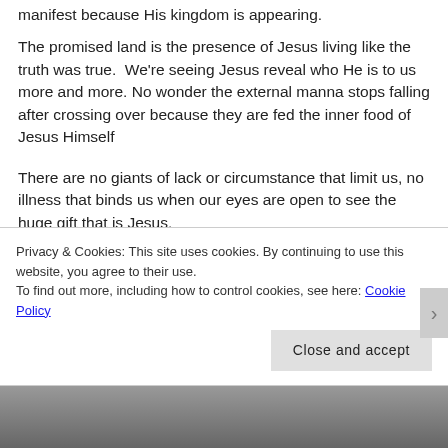manifest because His kingdom is appearing.
The promised land is the presence of Jesus living like the truth was true.  We're seeing Jesus reveal who He is to us more and more. No wonder the external manna stops falling after crossing over because they are fed the inner food of Jesus Himself
There are no giants of lack or circumstance that limit us, no  illness that binds us when our eyes are open to see the huge gift that is Jesus.
Privacy & Cookies: This site uses cookies. By continuing to use this website, you agree to their use.
To find out more, including how to control cookies, see here: Cookie Policy
Close and accept